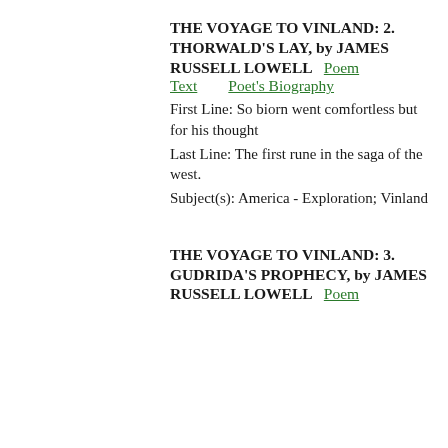THE VOYAGE TO VINLAND: 2. THORWALD'S LAY, by JAMES RUSSELL LOWELL
Poem Text   Poet's Biography
First Line: So biorn went comfortless but for his thought
Last Line: The first rune in the saga of the west.
Subject(s): America - Exploration; Vinland
THE VOYAGE TO VINLAND: 3. GUDRIDA'S PROPHECY, by JAMES RUSSELL LOWELL
Poem